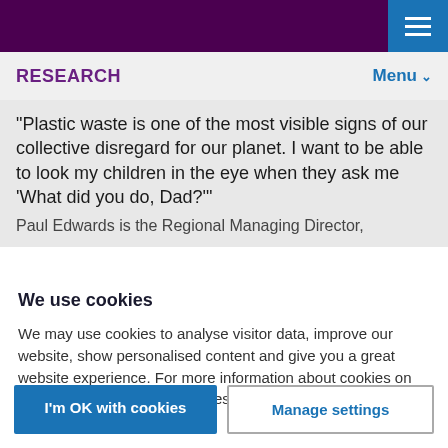RESEARCH   Menu
"Plastic waste is one of the most visible signs of our collective disregard for our planet. I want to be able to look my children in the eye when they ask me 'What did you do, Dad?'"
Paul Edwards is the Regional Managing Director,
We use cookies
We may use cookies to analyse visitor data, improve our website, show personalised content and give you a great website experience. For more information about cookies on our site and to tailor the cookies we collect, select ‘Manage settings’.
I'm OK with cookies
Manage settings